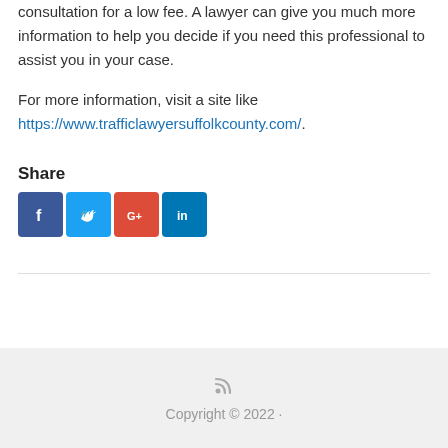consultation for a low fee. A lawyer can give you much more information to help you decide if you need this professional to assist you in your case.
For more information, visit a site like https://www.trafficlawyersuffolkcounty.com/.
Share
[Figure (infographic): Social media share buttons: Facebook, Twitter, Google+, LinkedIn]
Copyright © 2022 ·